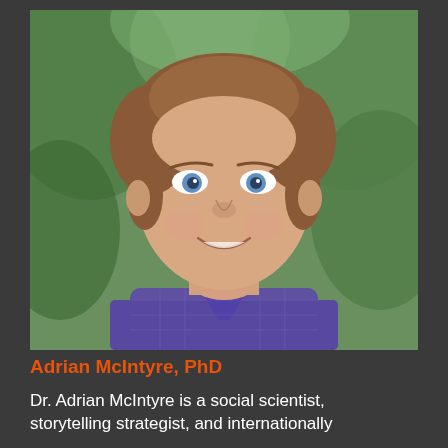[Figure (photo): Headshot of a man with short brown hair, blue eyes, wearing a purple plaid shirt, smiling, with green foliage in the background.]
Adrian McIntyre, PhD
Dr. Adrian McIntyre is a social scientist, storytelling strategist, and internationally